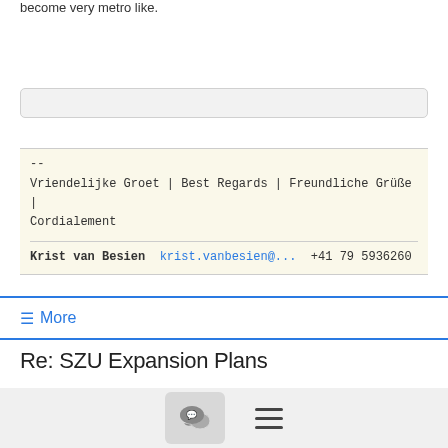become very metro like.
--
Vriendelijke Groet | Best Regards | Freundliche Grüße | Cordialement
Krist van Besien krist.vanbesien@... +41 79 5936260
≡ More
Re: SZU Expansion Plans
Max Wyss   10/29/21